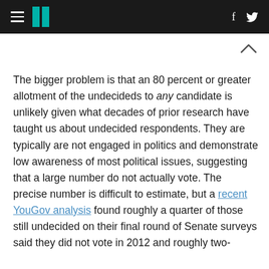HuffPost navigation header with hamburger menu, logo, Facebook and Twitter icons
The bigger problem is that an 80 percent or greater allotment of the undecideds to any candidate is unlikely given what decades of prior research have taught us about undecided respondents. They are typically are not engaged in politics and demonstrate low awareness of most political issues, suggesting that a large number do not actually vote. The precise number is difficult to estimate, but a recent YouGov analysis found roughly a quarter of those still undecided on their final round of Senate surveys said they did not vote in 2012 and roughly two-